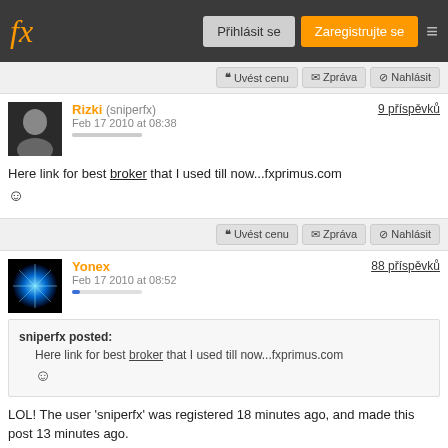fx | Přihlásit se | Zaregistrujte se
Uvést cenu | Zpráva | Nahlásit
Rizki (sniperfx)
Feb 17 2010 at 08:38
9 příspěvků
Here link for best broker that I used till now...fxprimus.com
Uvést cenu | Zpráva | Nahlásit
Yonex
Feb 17 2010 at 08:52
88 příspěvků
sniperfx posted:
Here link for best broker that I used till now...fxprimus.com
LOL! The user 'sniperfx' was registered 18 minutes ago, and made this post 13 minutes ago.